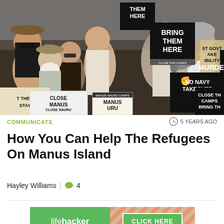[Figure (photo): Protest scene showing crowd of demonstrators holding signs including 'BRING THEM HERE', 'NO NAVY TAKEOVER', 'CLOSE THE CAMPS BRING THEM HERE', 'CLOSE MANUS CLOSE NAURU', 'MANUS NAURU'. A man speaks into a megaphone on the right.]
COMMUNICATE
5 YEARS AGO
How You Can Help The Refugees On Manus Island
Hayley Williams  |  4
[Figure (logo): Lifehacker advertisement banner with green background showing 'lifehacker' logo on left and 'CLICK HERE' button on right with diagonal stripe pattern]